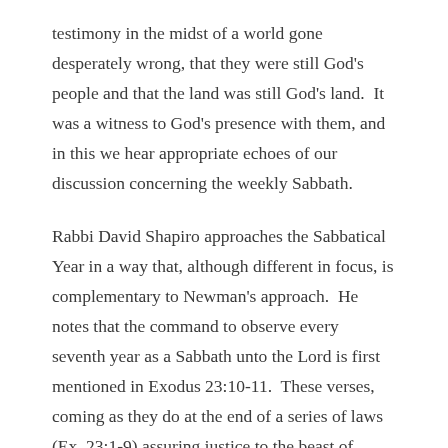testimony in the midst of a world gone desperately wrong, that they were still God's people and that the land was still God's land.  It was a witness to God's presence with them, and in this we hear appropriate echoes of our discussion concerning the weekly Sabbath.
Rabbi David Shapiro approaches the Sabbatical Year in a way that, although different in focus, is complementary to Newman's approach.  He notes that the command to observe every seventh year as a Sabbath unto the Lord is first mentioned in Exodus 23:10-11.  These verses, coming as they do at the end of a series of laws (Ex. 23:1-9) assuring justice to the beast of burden, to the humble and lowly, and culminating in the guarantee of equality to the stranger, help us to determine the intent of the Sabbatical year as the year in which the divine demands for